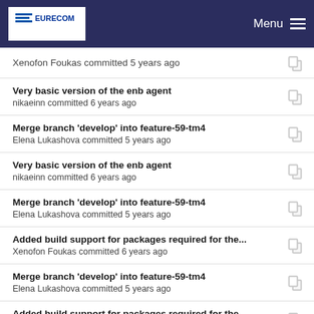EURECOM | Menu
Xenofon Foukas committed 5 years ago
Very basic version of the enb agent
nikaeinn committed 6 years ago
Merge branch 'develop' into feature-59-tm4
Elena Lukashova committed 5 years ago
Very basic version of the enb agent
nikaeinn committed 6 years ago
Merge branch 'develop' into feature-59-tm4
Elena Lukashova committed 5 years ago
Added build support for packages required for the...
Xenofon Foukas committed 6 years ago
Merge branch 'develop' into feature-59-tm4
Elena Lukashova committed 5 years ago
Added build support for packages required for the...
Xenofon Foukas committed 6 years ago